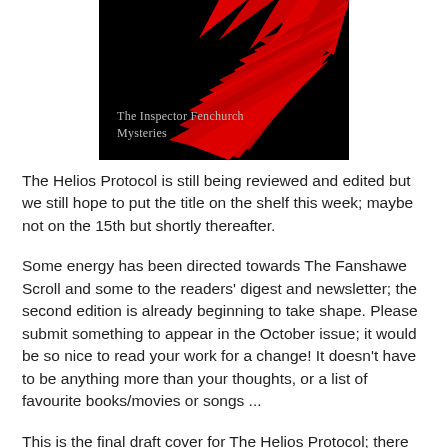[Figure (illustration): Book cover for The Inspector Fenchurch Mysteries showing red spiky leaf-like shapes on a black background with text 'The Inspector Fenchurch Mysteries' in grey serif font]
The Helios Protocol is still being reviewed and edited but we still hope to put the title on the shelf this week; maybe not on the 15th but shortly thereafter.
Some energy has been directed towards The Fanshawe Scroll and some to the readers' digest and newsletter; the second edition is already beginning to take shape. Please submit something to appear in the October issue; it would be so nice to read your work for a change! It doesn't have to be anything more than your thoughts, or a list of favourite books/movies or songs ...
This is the final draft cover for The Helios Protocol; there was a great